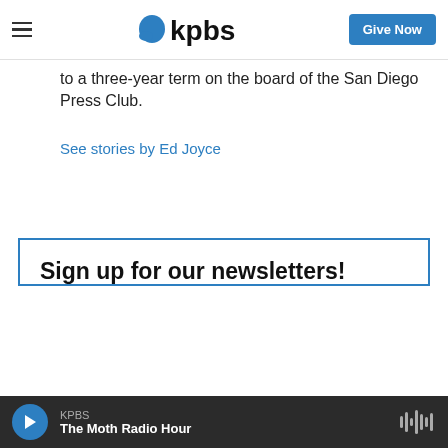KPBS | Give Now
to a three-year term on the board of the San Diego Press Club.
See stories by Ed Joyce
Sign up for our newsletters!
Keep up with all the latest news, arts and culture, and TV highlights from KPBS.
Email address *
KPBS | The Moth Radio Hour